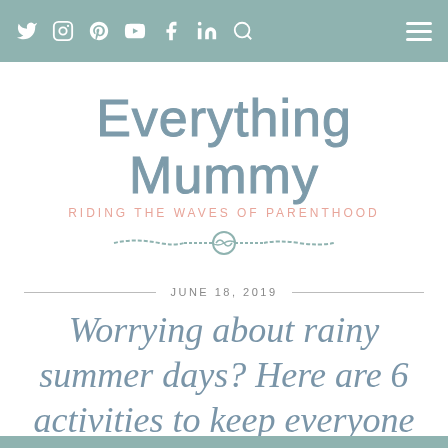Navigation bar with social icons: Twitter, Instagram, Pinterest, YouTube, Facebook, LinkedIn, Search, and hamburger menu
Everything Mummy
Riding the waves of parenthood
JUNE 18, 2019
Worrying about rainy summer days? Here are 6 activities to keep everyone happy..